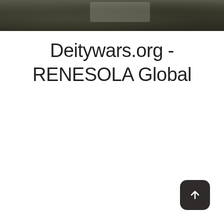[Figure (photo): Dark background photo strip showing a keyboard or desk surface, partially visible at the top of the page]
Deitywars.org - RENESOLA Global
[Figure (other): Dark rounded square button with an upward arrow icon, located in the bottom-right corner]